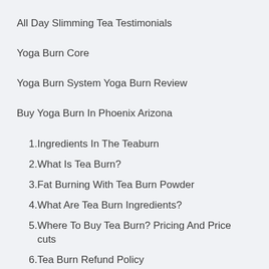All Day Slimming Tea Testimonials
Yoga Burn Core
Yoga Burn System Yoga Burn Review
Buy Yoga Burn In Phoenix Arizona
1. Ingredients In The Teaburn
2. What Is Tea Burn?
3. Fat Burning With Tea Burn Powder
4. What Are Tea Burn Ingredients?
5. Where To Buy Tea Burn? Pricing And Price cuts
6. Tea Burn Refund Policy